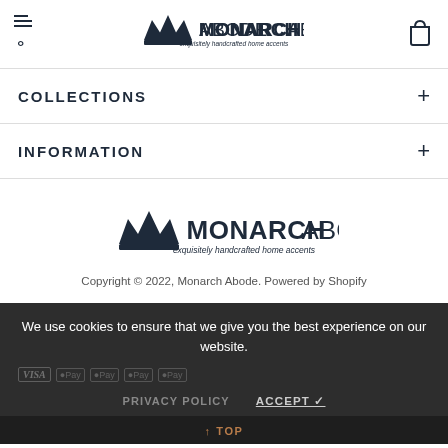Monarch Abode — exquisitely handcrafted home accents
COLLECTIONS
INFORMATION
[Figure (logo): Monarch Abode logo with crown icon and tagline 'exquisitely handcrafted home accents']
Copyright © 2022, Monarch Abode. Powered by Shopify
We use cookies to ensure that we give you the best experience on our website.
PRIVACY POLICY   ACCEPT ✓   ↑ TOP